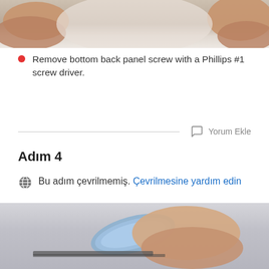[Figure (photo): Top portion of a photo showing hands working on a device, cropped at the top of the page]
Remove bottom back panel screw with a Phillips #1 screw driver.
Yorum Ekle
Adım 4
Bu adım çevrilmemiş. Çevrilmesine yardım edin
[Figure (photo): Bottom portion of a photo showing a hand holding a blue prying/spudger tool against a dark surface, beginning of Step 4 image]